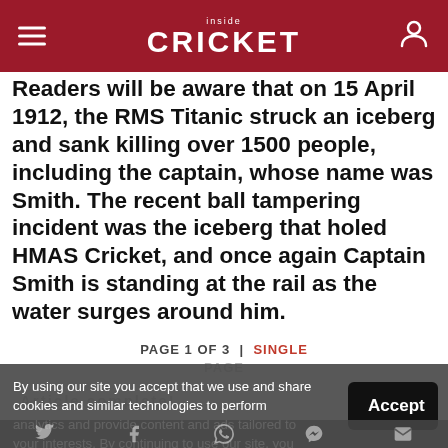inside CRICKET
Readers will be aware that on 15 April 1912, the RMS Titanic struck an iceberg and sank killing over 1500 people, including the captain, whose name was Smith. The recent ball tampering incident was the iceberg that holed HMAS Cricket, and once again Captain Smith is standing at the rail as the water surges around him.
PAGE 1 OF 3  |  SINGLE
By using our site you accept that we use and share cookies and similar technologies to perform analytics and provide content and ads tailored to your interests. By continuing to use our site, you consent to this. Please see our Cookie Policy for more information.